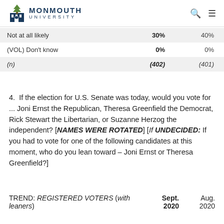MONMOUTH UNIVERSITY
|  | Sept. 2020 | Aug. 2020 |
| --- | --- | --- |
| Not at all likely | 30% | 40% |
| (VOL) Don't know | 0% | 0% |
| (n) | (402) | (401) |
4.  If the election for U.S. Senate was today, would you vote for ... Joni Ernst the Republican, Theresa Greenfield the Democrat, Rick Stewart the Libertarian, or Suzanne Herzog the independent? [NAMES WERE ROTATED] [If UNDECIDED: If you had to vote for one of the following candidates at this moment, who do you lean toward – Joni Ernst or Theresa Greenfield?]
TREND: REGISTERED VOTERS (with leaners)	Sept. 2020	Aug. 2020